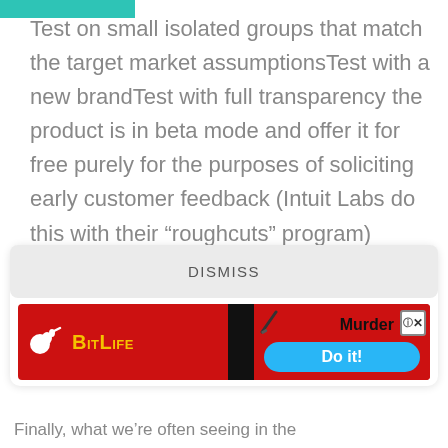Test on small isolated groups that match the target market assumptionsTest with a new brandTest with full transparency the product is in beta mode and offer it for free purely for the purposes of soliciting early customer feedback (Intuit Labs do this with their “roughcuts” program)
[Figure (screenshot): A dismiss button and an advertisement banner for BitLife game showing 'Murder Do it!' with a blue button]
Finally, what we’re often seeing in the